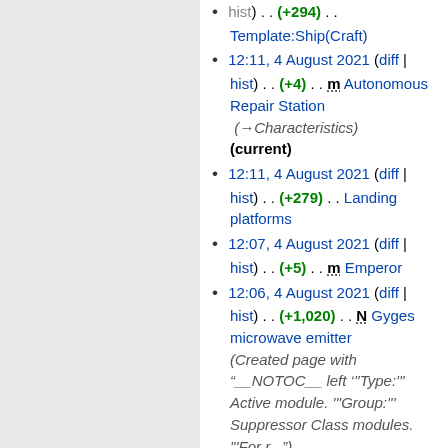hist) . . (+294) . . Template:Ship(Craft)
12:11, 4 August 2021 (diff | hist) . . (+4) . . m Autonomous Repair Station (→Characteristics) (current)
12:11, 4 August 2021 (diff | hist) . . (+279) . . Landing platforms
12:07, 4 August 2021 (diff | hist) . . (+5) . . m Emperor
12:06, 4 August 2021 (diff | hist) . . (+1,020) . . N Gyges microwave emitter (Created page with "__NOTOC__ left '''Type:''' Active module. '''Group:''' Suppressor Class modules. '''For r...")
12:03, 4 August 2021 (diff | hist) . . (+3,252) . . N